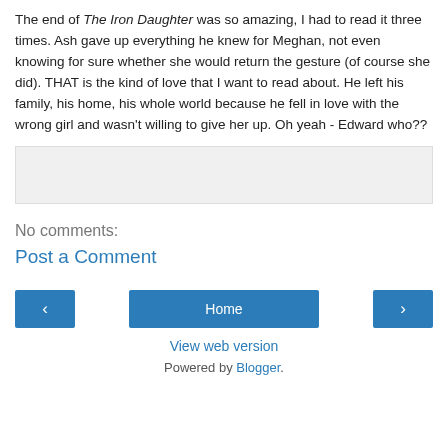The end of The Iron Daughter was so amazing, I had to read it three times. Ash gave up everything he knew for Meghan, not even knowing for sure whether she would return the gesture (of course she did). THAT is the kind of love that I want to read about. He left his family, his home, his whole world because he fell in love with the wrong girl and wasn't willing to give her up. Oh yeah - Edward who??
[Figure (other): Gray empty comment input box]
No comments:
Post a Comment
Home
View web version
Powered by Blogger.